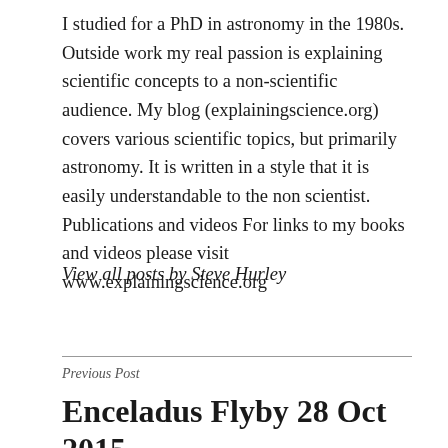I studied for a PhD in astronomy in the 1980s. Outside work my real passion is explaining scientific concepts to a non-scientific audience. My blog (explainingscience.org) covers various scientific topics, but primarily astronomy. It is written in a style that it is easily understandable to the non scientist. Publications and videos For links to my books and videos please visit www.explainingscience.org
View all posts by Steve Hurley
Previous Post
Enceladus Flyby 28 Oct 2015